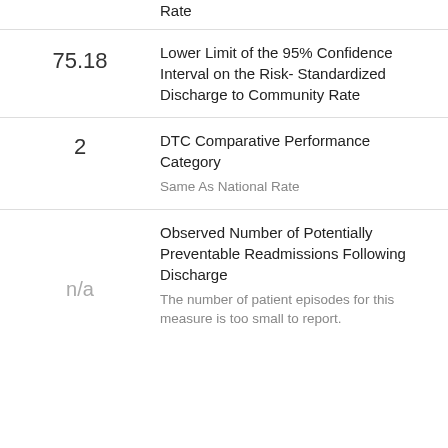Rate
75.18
Lower Limit of the 95% Confidence Interval on the Risk- Standardized Discharge to Community Rate
2
DTC Comparative Performance Category
Same As National Rate
n/a
Observed Number of Potentially Preventable Readmissions Following Discharge
The number of patient episodes for this measure is too small to report.